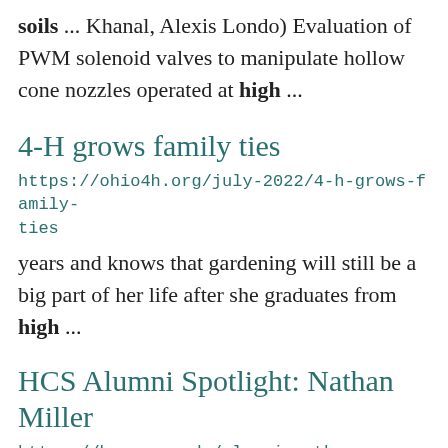soils ... Khanal, Alexis Londo) Evaluation of PWM solenoid valves to manipulate hollow cone nozzles operated at high ...
4-H grows family ties
https://ohio4h.org/july-2022/4-h-grows-family-ties
years and knows that gardening will still be a big part of her life after she graduates from high ...
HCS Alumni Spotlight: Nathan Miller
https://hcs.osu.edu/alumni-nathan
through my experience with my high